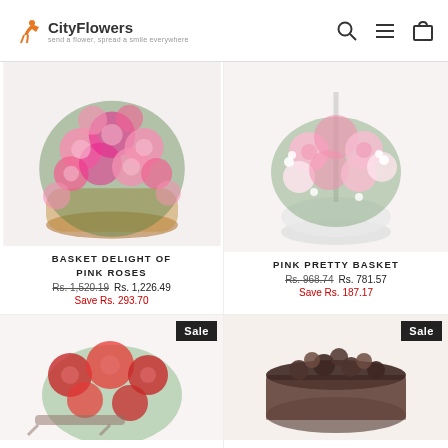CityFlowers — city flower delivery
[Figure (photo): Basket arrangement of pink roses in a wicker basket]
BASKET DELIGHT OF PINK ROSES
Rs. 1,520.19  Rs. 1,226.49  Save Rs. 293.70
[Figure (photo): Pink pretty basket with mixed pink flowers in a white round basket]
PINK PRETTY BASKET
Rs. 968.74  Rs. 781.57  Save Rs. 187.17
[Figure (photo): Red roses arrangement on a sled/sleigh, Sale badge]
[Figure (photo): Chocolate cake with chocolate topping, Sale badge]